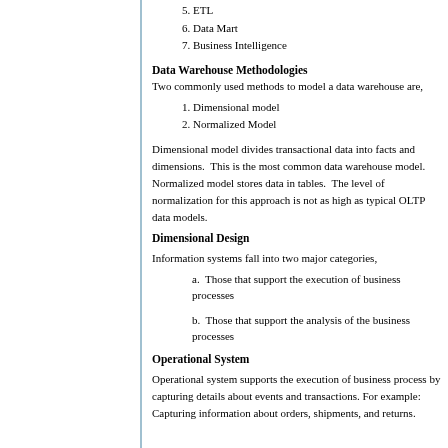5. ETL
6. Data Mart
7. Business Intelligence
Data Warehouse Methodologies
Two commonly used methods to model a data warehouse are,
1. Dimensional model
2. Normalized Model
Dimensional model divides transactional data into facts and dimensions.  This is the most common data warehouse model. Normalized model stores data in tables.  The level of normalization for this approach is not as high as typical OLTP data models.
Dimensional Design
Information systems fall into two major categories,
a. Those that support the execution of business processes
b. Those that support the analysis of the business processes
Operational System
Operational system supports the execution of business process by capturing details about events and transactions. For example:  Capturing information about orders, shipments, and returns.